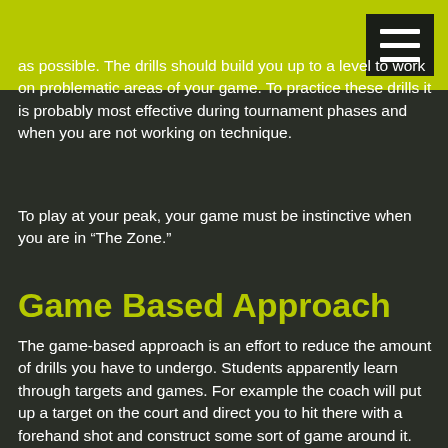as possible. The drills should build you up to a level to work on problematic areas of your game. To practice these drills it is probably most effective during tournament phases and when you are not working on technique.
To play at your peak, your game must be instinctive when you are in “The Zone.”
Game Based Approach
The game-based approach is an effort to reduce the amount of drills you have to undergo. Students apparently learn through targets and games. For example the coach will put up a target on the court and direct you to hit there with a forehand shot and construct some sort of game around it.